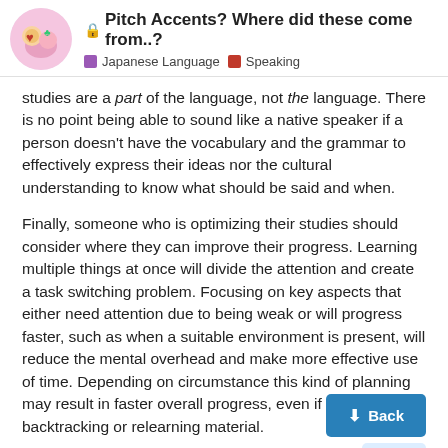🔒 Pitch Accents? Where did these come from..? | Japanese Language | Speaking
studies are a part of the language, not the language. There is no point being able to sound like a native speaker if a person doesn't have the vocabulary and the grammar to effectively express their ideas nor the cultural understanding to know what should be said and when.
Finally, someone who is optimizing their studies should consider where they can improve their progress. Learning multiple things at once will divide the attention and create a task switching problem. Focusing on key aspects that either need attention due to being weak or will progress faster, such as when a suitable environment is present, will reduce the mental overhead and make more effective use of time. Depending on circumstance this kind of planning may result in faster overall progress, even if it means backtracking or relearning material.
As Kumirei was pointing out, it makes far more sense to study a topic like pitch accent in depth when a per... spoken Japanese frequently (eg native tau...
[Figure (other): Blue 'Back' button with downward arrow]
35 / 60